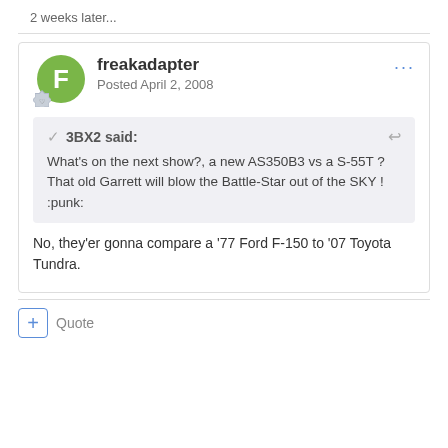2 weeks later...
freakadapter
Posted April 2, 2008
3BX2 said:
What's on the next show?, a new AS350B3 vs a S-55T ?
That old Garrett will blow the Battle-Star out of the SKY ! :punk:
No, they'er gonna compare a '77 Ford F-150 to '07 Toyota Tundra.
+ Quote